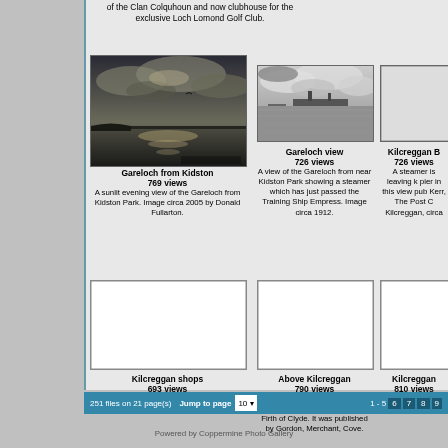of the Clan Colquhoun and now clubhouse for the exclusive Loch Lomond Golf Club.
[Figure (photo): Sunlit evening view of the Gareloch from Kidston Park, circa 2005]
Gareloch from Kidston
769 views
A sunlit evening view of the Gareloch from Kidston Park. Image circa 2005 by Donald Fullarton.
[Figure (photo): Black and white view of Gareloch from near Kidston Park showing a steamer, circa 1912]
Gareloch view
726 views
A view of the Gareloch from near Kidston Park showing a steamer which has just passed the Training Ship Empress. Image circa 1912.
[Figure (photo): Kilcreggan B - steamer leaving pier, partial image cut off]
Kilcreggan B
726 views
A steamer is leaving K pier in this view pub Kerr, The Post C Kilcreggan, circa
[Figure (photo): Kilcreggan shops placeholder]
Kilcreggan shops
693 views
Main Street, Kilcreggan, circa 1972.
[Figure (photo): Above Kilcreggan placeholder]
Above Kilcreggan
790 views
An early 1900s photo from above Kilcreggan looking across the Firth of Clyde. It was published by Gordon, Merchant, Cove.
[Figure (photo): Kilcreggan placeholder, partial]
Kilcreggan
810 views
A 1927 view from the Kilcreggan.
251 files on 21 page(s)   Jump to page  10    1 - 5  6  7  8  9
Powered by Coppermine Photo Gallery